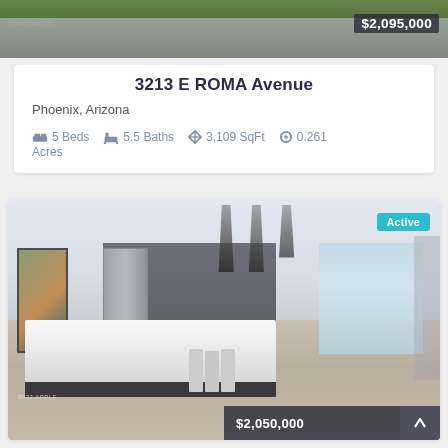[Figure (photo): Exterior photo of property with price badge $2,095,000]
3213 E ROMA Avenue
Phoenix, Arizona
5 Beds   5.5 Baths   3,109 SqFt   0.261 Acres
[Figure (photo): Interior kitchen photo of 3213 E ROMA Avenue showing large marble island, dark cabinetry, pendant lights. Active listing badge. Price $2,050,000.]